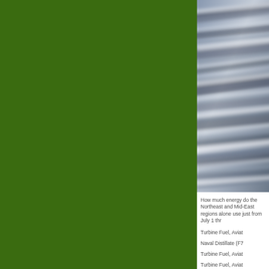[Figure (photo): Blurred motion photograph of rushing water or rapids, shown in blue-grey tones with streaks of white foam, cropped at right edge of page]
How much energy do the Northeast and Mid-East regions alone use just from July 1 thr
Turbine Fuel, Aviat
Naval Distillate (F7
Turbine Fuel, Aviat
Turbine Fuel, Aviat